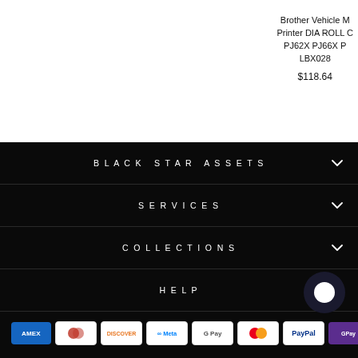Brother Vehicle M Printer DIA ROLL C PJ62X PJ66X P LBX028
$118.64
BLACK STAR ASSETS
SERVICES
COLLECTIONS
HELP
[Figure (other): Payment method icons: AMEX, Diners Club, Discover, Meta Pay, Google Pay, Mastercard, PayPal, GPay]